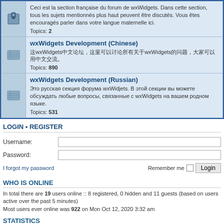Ceci est la section française du forum de wxWidgets. Dans cette section, tous les sujets mentionnés plus haut peuvent être discutés. Vous êtes encouragés parler dans votre langue maternelle ici. Topics: 2
wxWidgets Development (Chinese)
Topics: 890
wxWidgets Development (Russian)
Это русская секция форума wxWidjets. В этой секции вы можете обсуждать любые вопросы, связанные с wxWidgets на вашем родном языке. Topics: 531
LOGIN • REGISTER
Username:
Password:
I forgot my password
Remember me
WHO IS ONLINE
In total there are 19 users online :: 8 registered, 0 hidden and 11 guests (based on users active over the past 5 minutes)
Most users ever online was 922 on Mon Oct 12, 2020 3:32 am
STATISTICS
Total posts 204639 • Total topics 43250 • Total members 22804 • Our newest member sommi